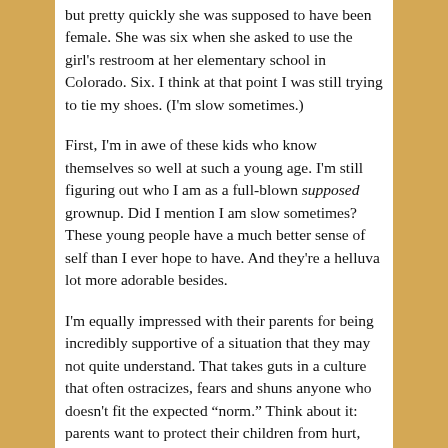but pretty quickly she was supposed to have been female. She was six when she asked to use the girl's restroom at her elementary school in Colorado. Six. I think at that point I was still trying to tie my shoes. (I'm slow sometimes.)
First, I'm in awe of these kids who know themselves so well at such a young age. I'm still figuring out who I am as a full-blown supposed grownup. Did I mention I am slow sometimes? These young people have a much better sense of self than I ever hope to have. And they're a helluva lot more adorable besides.
I'm equally impressed with their parents for being incredibly supportive of a situation that they may not quite understand. That takes guts in a culture that often ostracizes, fears and shuns anyone who doesn't fit the expected “norm.” Think about it: parents want to protect their children from hurt, harm and hate. And yet, by embracing their child and helping them to feel comfortable in their own skin, these parents are blamed by an often-